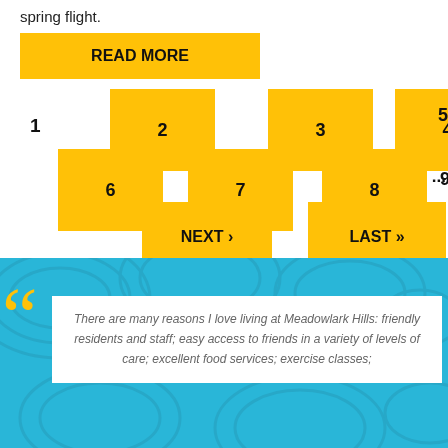spring flight.
[Figure (infographic): Yellow READ MORE button]
[Figure (infographic): Pagination navigation with yellow blocks showing pages 1-9, NEXT and LAST buttons]
[Figure (infographic): Blue decorative banner with gold quotation marks and white card containing testimonial text]
There are many reasons I love living at Meadowlark Hills: friendly residents and staff; easy access to friends in a variety of levels of care; excellent food services; exercise classes;